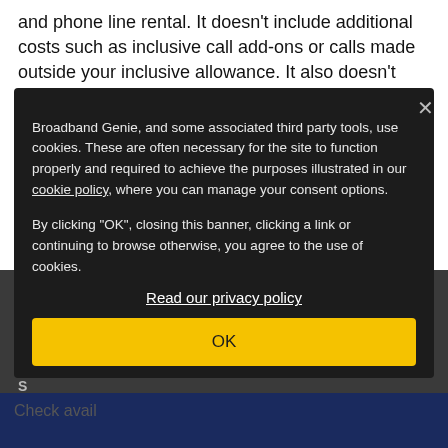and phone line rental. It doesn't include additional costs such as inclusive call add-ons or calls made outside your inclusive allowance. It also doesn't include any extra charges for broadband data usage if your deal isn't unlimited.
Extras
Broadband Genie, and some associated third party tools, use cookies. These are often necessary for the site to function properly and required to achieve the purposes illustrated in our cookie policy, where you can manage your consent options.

By clicking "OK", closing this banner, clicking a link or continuing to browse otherwise, you agree to the use of cookies.
Read our privacy policy
OK
Check avail...